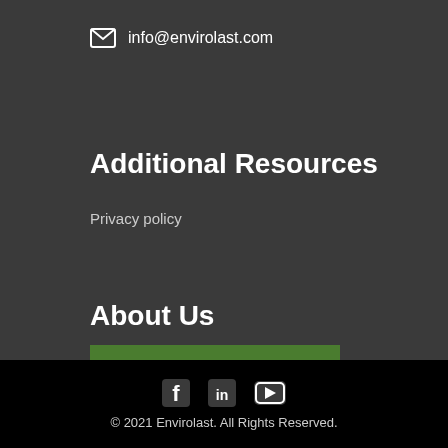info@envirolast.com
Additional Resources
Privacy policy
About Us
GET A QUOTE
[Figure (other): Social media icons: Facebook, LinkedIn, YouTube]
© 2021 Envirolast. All Rights Reserved.